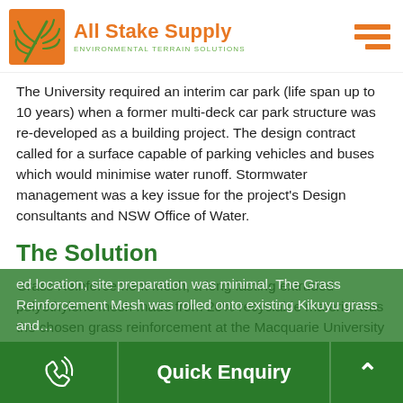[Figure (logo): All Stake Supply logo with orange leaf/palm icon, orange company name 'All Stake Supply', and green tagline 'ENVIRONMENTAL TERRAIN SOLUTIONS']
The University required an interim car park (life span up to 10 years) when a former multi-deck car park structure was re-developed as a building project. The design contract called for a surface capable of parking vehicles and buses which would minimise water runoff. Stormwater management was a key issue for the project's Design consultants and NSW Office of Water.
The Solution
Grass Reinforcement Mesh, a long lasting extruded polyethylene mesh made from 20% recyclable material was the chosen grass reinforcement at the Macquarie University X8 car park.
Excavation work was required for creating opened water runoff channels and swales. Due to the gentle gradient of the selected location, site preparation was minimal. The Grass Reinforcement Mesh was rolled onto existing Kikuyu grass and…